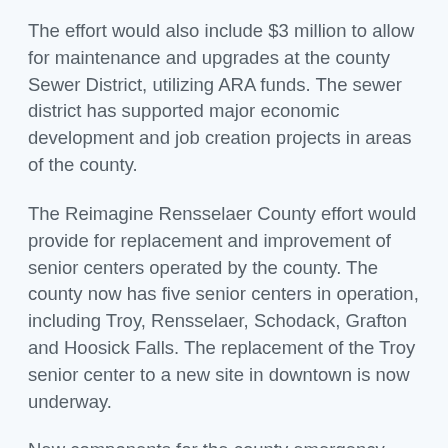The effort would also include $3 million to allow for maintenance and upgrades at the county Sewer District, utilizing ARA funds. The sewer district has supported major economic development and job creation projects in areas of the county.
The Reimagine Rensselaer County effort would provide for replacement and improvement of senior centers operated by the county. The county now has five senior centers in operation, including Troy, Rensselaer, Schodack, Grafton and Hoosick Falls. The replacement of the Troy senior center to a new site in downtown is now underway.
New components for the county emergency